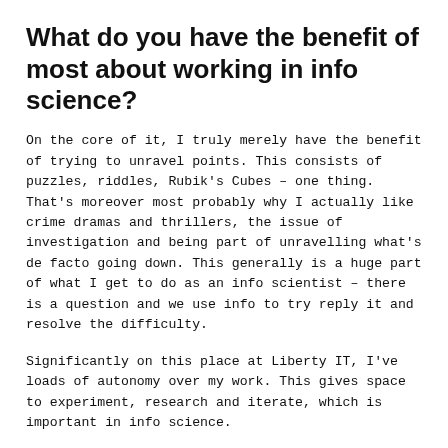What do you have the benefit of most about working in info science?
On the core of it, I truly merely have the benefit of trying to unravel points. This consists of puzzles, riddles, Rubik's Cubes – one thing. That's moreover most probably why I actually like crime dramas and thrillers, the issue of investigation and being part of unravelling what's de facto going down. This generally is a huge part of what I get to do as an info scientist – there is a question and we use info to try reply it and resolve the difficulty.
Significantly on this place at Liberty IT, I've loads of autonomy over my work. This gives space to experiment, research and iterate, which is important in info science.